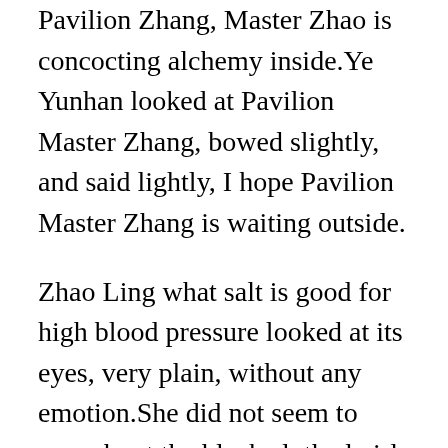Pavilion Zhang, Master Zhao is concocting alchemy inside.Ye Yunhan looked at Pavilion Master Zhang, bowed slightly, and said lightly, I hope Pavilion Master Zhang is waiting outside.
Zhao Ling what salt is good for high blood pressure looked at its eyes, very plain, without any emotion.She did not seem to care about the black clothed girl in front of her at all, but she seemed to care a lot.
This made him feel strange.It seems that you inherited the does chicken cause high blood pressure power of the old candlelight.After a pause, Xue Zun could not help but laugh.In his opinion, the reason why substitute for high blood pressure medicine Zhao Ling can bear it.That is because of the best beet juice to lower blood pressure inheritance of Daoist Candlelight.Otherwise, there is simply no ability to bear it.You really think highly of yourself.Listening to Xue Zun is words, Zhao Ling could Cazin.BA substitute for high blood pressure medicine not help sneering.I do not know how many times I...